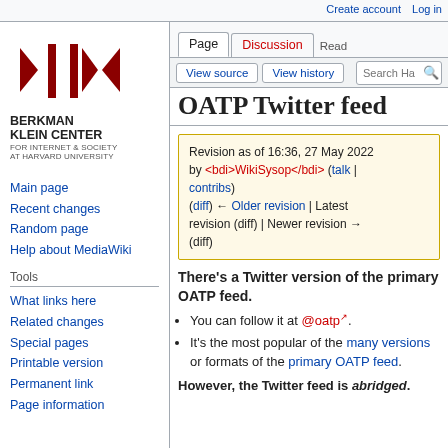Create account  Log in
[Figure (logo): Berkman Klein Center for Internet & Society at Harvard University logo with red arrows and vertical bars]
Read
Page  Discussion
View source  View history  Search Ha
OATP Twitter feed
Revision as of 16:36, 27 May 2022 by <bdi>WikiSysop</bdi> (talk | contribs)
(diff) ← Older revision | Latest revision (diff) | Newer revision → (diff)
Main page
Recent changes
Random page
Help about MediaWiki
Tools
What links here
Related changes
Special pages
Printable version
Permanent link
Page information
There's a Twitter version of the primary OATP feed.
You can follow it at @oatp.
It's the most popular of the many versions or formats of the primary OATP feed.
However, the Twitter feed is abridged.